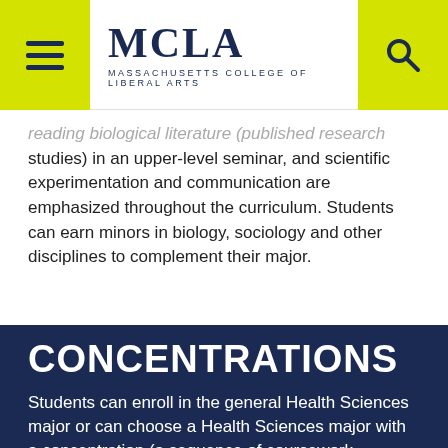MCLA — Massachusetts College of Liberal Arts
reading biological literature (published research studies) in an upper-level seminar, and scientific experimentation and communication are emphasized throughout the curriculum. Students can earn minors in biology, sociology and other disciplines to complement their major.
CONCENTRATIONS
Students can enroll in the general Health Sciences major or can choose a Health Sciences major with a concentration (a sequence of coursework targeted to a specific field) in Pre-Physician Assistant, Pre-